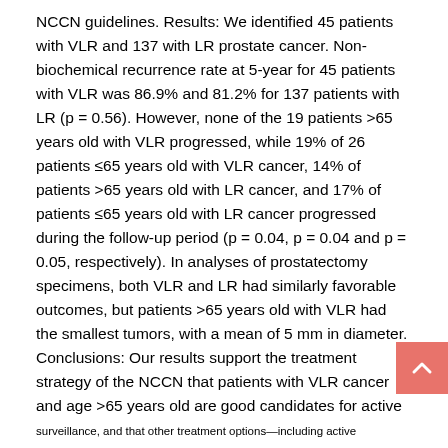NCCN guidelines. Results: We identified 45 patients with VLR and 137 with LR prostate cancer. Non-biochemical recurrence rate at 5-year for 45 patients with VLR was 86.9% and 81.2% for 137 patients with LR (p = 0.56). However, none of the 19 patients >65 years old with VLR progressed, while 19% of 26 patients ≤65 years old with VLR cancer, 14% of patients >65 years old with LR cancer, and 17% of patients ≤65 years old with LR cancer progressed during the follow-up period (p = 0.04, p = 0.04 and p = 0.05, respectively). In analyses of prostatectomy specimens, both VLR and LR had similarly favorable outcomes, but patients >65 years old with VLR had the smallest tumors, with a mean of 5 mm in diameter. Conclusions: Our results support the treatment strategy of the NCCN that patients with VLR cancer and age >65 years old are good candidates for active surveillance, and that other treatment options—including active surveillance and aggressive treatments—can be applied to the remaining patients with VLR or LR cancers.